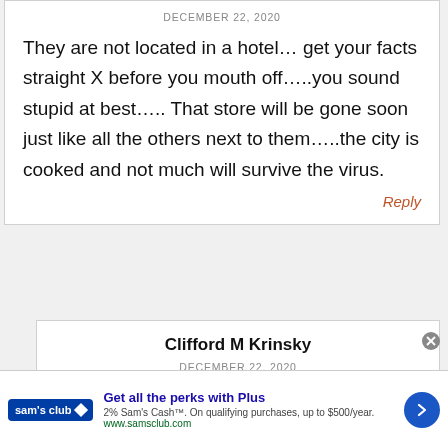DECEMBER 22, 2020
They are not located in a hotel… get your facts straight X before you mouth off…..you sound stupid at best….. That store will be gone soon just like all the others next to them…..the city is cooked and not much will survive the virus.
Reply
Clifford M Krinsky
DECEMBER 22, 2020
Get all the perks with Plus
2% Sam's Cash™. On qualifying purchases, up to $500/year.
www.samsclub.com